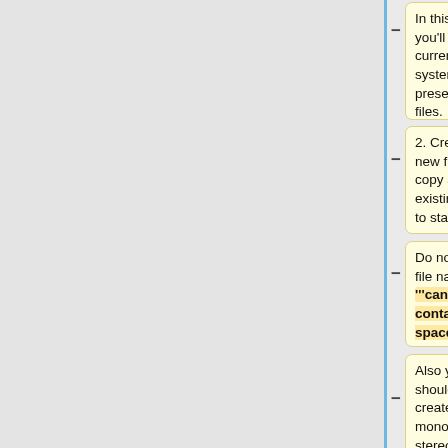In this folder you'll see the current system presets *.dsp files.
1. Connect to the Pi via sftp and navigate to /home/pi/RGB-Pi/data/dsp_filters.</br>
2. Create a new file or copy an existing preset to start.
In this folder you'll see the current system presets *.dsp files.</br></br>
Do note that file names '''cannot contain spaces'''.
2. Create a new file or copy an existing preset to start.</br>
Also you should always create both mono and stereo versions of your presets. Example:
'''Do note that file names cannot contain spaces'''</br>